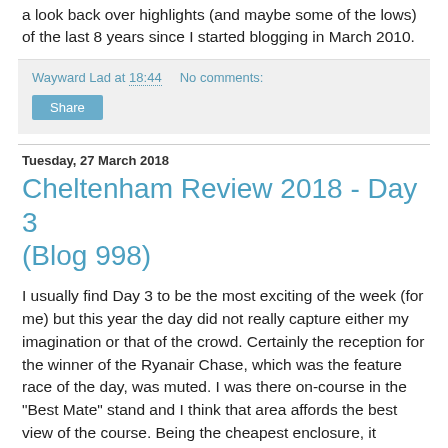a look back over highlights (and maybe some of the lows) of the last 8 years since I started blogging in March 2010.
Wayward Lad at 18:44   No comments:
Share
Tuesday, 27 March 2018
Cheltenham Review 2018 - Day 3 (Blog 998)
I usually find Day 3 to be the most exciting of the week (for me) but this year the day did not really capture either my imagination or that of the crowd.  Certainly the reception for the winner of the Ryanair Chase, which was the feature race of the day, was muted. I was there on-course in the "Best Mate" stand and I think that area affords the best view of the course.  Being the cheapest enclosure, it attracts plenty of people who go to the Festival only to get legless, but they mainly stay in the drinking areas, and (in my opinion) the remainder of the crowd there to watch the racing are a